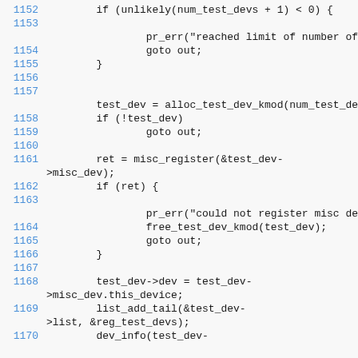[Figure (screenshot): Source code listing showing C kernel module code, lines 1152-1170, with line numbers in blue and code in monospace font on light gray background.]